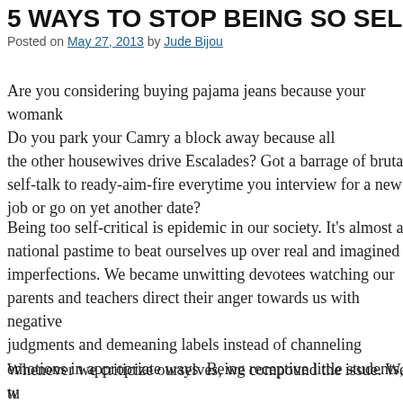5 WAYS TO STOP BEING SO SELF-CRITI…
Posted on May 27, 2013 by Jude Bijou
Are you considering buying pajama jeans because your womank… Do you park your Camry a block away because all the other housewives drive Escalades? Got a barrage of brutal self-talk to ready-aim-fire everytime you interview for a new job or go on yet another date?
Being too self-critical is epidemic in our society. It's almost a national pastime to beat ourselves up over real and imagined imperfections. We became unwitting devotees watching our parents and teachers direct their anger towards us with negative judgments and demeaning labels instead of channeling emotions in appropriate ways. Being receptive little students, w… unkind messages and internalized commitments to keep them al… heart and speak them inside without even thinking.
Whenever we criticize ourselves, we compound the issue. We tu… the social blunder, a poor financial decision or disapproving ch…